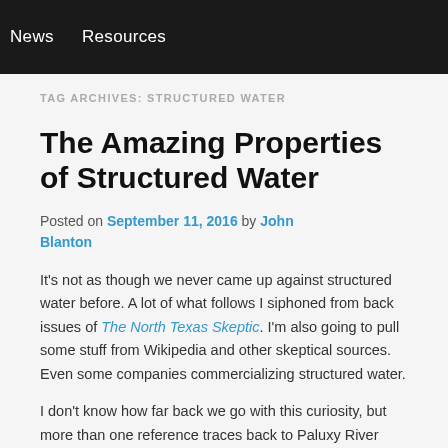News   Resources
TAG ARCHIVES: STRUCTURED WATER
The Amazing Properties of Structured Water
Posted on September 11, 2016 by John Blanton
It's not as though we never came up against structured water before. A lot of what follows I siphoned from back issues of The North Texas Skeptic. I'm also going to pull some stuff from Wikipedia and other skeptical sources. Even some companies commercializing structured water.
I don't know how far back we go with this curiosity, but more than one reference traces back to Paluxy River creationist Carl Baugh. Since before the time I joined up